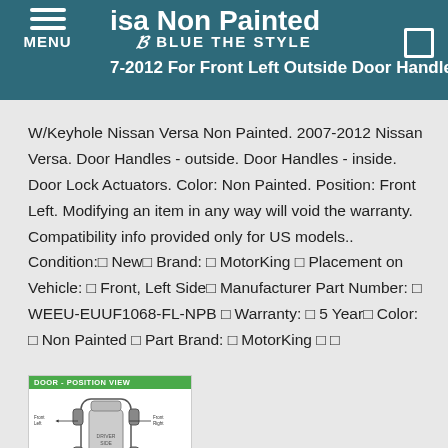isa Non Painted — BLUE THE STYLE — 7-2012 For Front Left Outside Door Handle
W/Keyhole Nissan Versa Non Painted. 2007-2012 Nissan Versa. Door Handles - outside. Door Handles - inside. Door Lock Actuators. Color: Non Painted. Position: Front Left. Modifying an item in any way will void the warranty. Compatibility info provided only for US models.. Condition:  New  Brand:   MotorKing   Placement on Vehicle:   Front, Left Side  Manufacturer Part Number:   WEEU-EUUF1068-FL-NPB   Warranty:   5 Year  Color:   Non Painted   Part Brand:   MotorKing
[Figure (schematic): Door position view diagram showing a car schematic with labeled door handle positions. Green banner reads 'DOOR - POSITION VIEW'.]